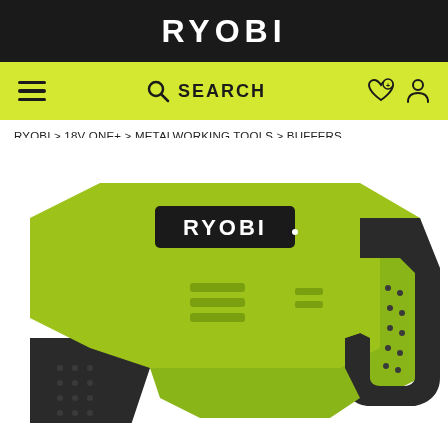RYOBI
≡   🔍 SEARCH   ♡ 👤
RYOBI > 18V ONE+ > METALWORKING TOOLS > BUFFERS
[Figure (photo): Close-up photo of a RYOBI 18V cordless buffer/polisher tool body in green and black, showing the RYOBI logo badge, ventilation slots, and ergonomic grip handles.]